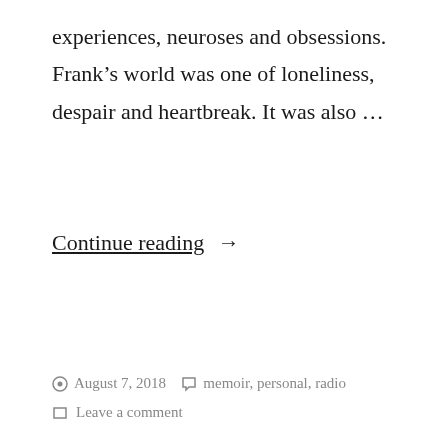experiences, neuroses and obsessions. Frank's world was one of loneliness, despair and heartbreak. It was also …
Continue reading →
August 7, 2018  memoir, personal, radio  Leave a comment